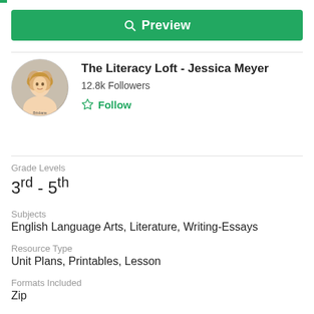[Figure (other): Green preview button with magnifying glass icon]
The Literacy Loft - Jessica Meyer
12.8k Followers
Follow
Grade Levels
3rd - 5th
Subjects
English Language Arts, Literature, Writing-Essays
Resource Type
Unit Plans, Printables, Lesson
Formats Included
Zip